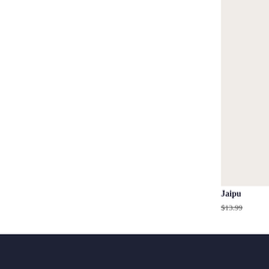[Figure (photo): Partial product card showing a book or item cover image on the right side; background is light beige/cream color]
Jaipu
$13.99